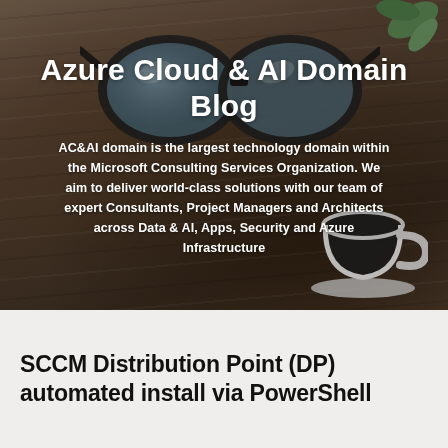[Figure (photo): Hero banner photo of a wooden desk with sunglasses, a coffee cup, and a plant in the background, with overlaid text for the Azure Cloud & AI Domain Blog]
Azure Cloud & AI Domain Blog
AC&AI domain is the largest technology domain within the Microsoft Consulting Services Organization. We aim to deliver world-class solutions with our team of expert Consultants, Project Managers and Architects across Data & AI, Apps, Security and Azure Infrastructure
SCCM Distribution Point (DP) automated install via PowerShell